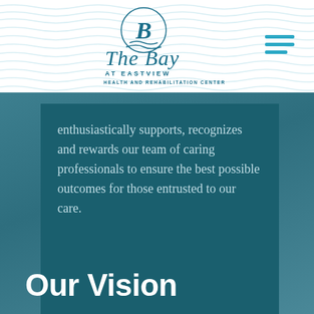[Figure (logo): The Bay at Eastview Health and Rehabilitation Center logo with circular B emblem and cursive text]
enthusiastically supports, recognizes and rewards our team of caring professionals to ensure the best possible outcomes for those entrusted to our care.
Our Vision